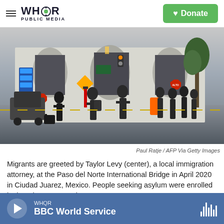WHQR PUBLIC MEDIA | Donate
[Figure (photo): People standing and walking at a border crossing checkpoint, with traffic signs, barriers, and a tree visible. Some carry luggage. Silhouettes prominent in foreground.]
Paul Ratje / AFP Via Getty Images
Migrants are greeted by Taylor Levy (center), a local immigration attorney, at the Paso del Norte International Bridge in April 2020 in Ciudad Juarez, Mexico. People seeking asylum were enrolled in the Migrant Protection
WHQR | BBC World Service